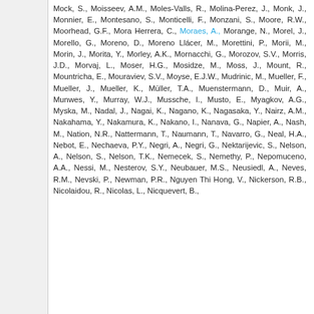Mock, S., Moisseev, A.M., Moles-Valls, R., Molina-Perez, J., Monk, J., Monnier, E., Montesano, S., Monticelli, F., Monzani, S., Moore, R.W., Moorhead, G.F., Mora Herrera, C., Moraes, A., Morange, N., Morel, J., Morello, G., Moreno, D., Moreno Llácer, M., Morettini, P., Morii, M., Morin, J., Morita, Y., Morley, A.K., Mornacchi, G., Morozov, S.V., Morris, J.D., Morvaj, L., Moser, H.G., Mosidze, M., Moss, J., Mount, R., Mountricha, E., Mouraviev, S.V., Moyse, E.J.W., Mudrinic, M., Mueller, F., Mueller, J., Mueller, K., Müller, T.A., Muenstermann, D., Muir, A., Munwes, Y., Murray, W.J., Mussche, I., Musto, E., Myagkov, A.G., Myska, M., Nadal, J., Nagai, K., Nagano, K., Nagasaka, Y., Nairz, A.M., Nakahama, Y., Nakamura, K., Nakano, I., Nanava, G., Napier, A., Nash, M., Nation, N.R., Nattermann, T., Naumann, T., Navarro, G., Neal, H.A., Nebot, E., Nechaeva, P.Y., Negri, A., Negri, G., Nektarijevic, S., Nelson, A., Nelson, S., Nelson, T.K., Nemecek, S., Nemethy, P., Nepomuceno, A.A., Nessi, M., Nesterov, S.Y., Neubauer, M.S., Neusiedl, A., Neves, R.M., Nevski, P., Newman, P.R., Nguyen Thi Hong, V., Nickerson, R.B., Nicolaidou, R., Nicolas, L., Nicquevert, B.,